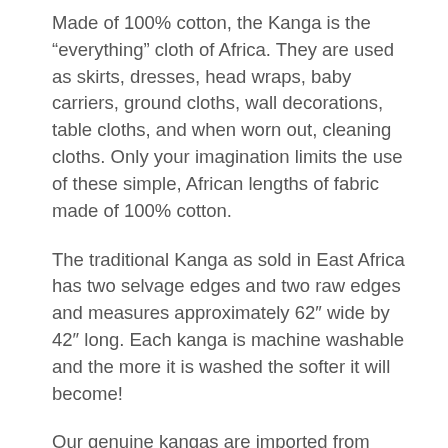Made of 100% cotton, the Kanga is the “everything” cloth of Africa. They are used as skirts, dresses, head wraps, baby carriers, ground cloths, wall decorations, table cloths, and when worn out, cleaning cloths. Only your imagination limits the use of these simple, African lengths of fabric made of 100% cotton.
The traditional Kanga as sold in East Africa has two selvage edges and two raw edges and measures approximately 62″ wide by 42″ long. Each kanga is machine washable and the more it is washed the softer it will become!
Our genuine kangas are imported from Kenya and Tanzania.
This kanga measures approximately 42″ x